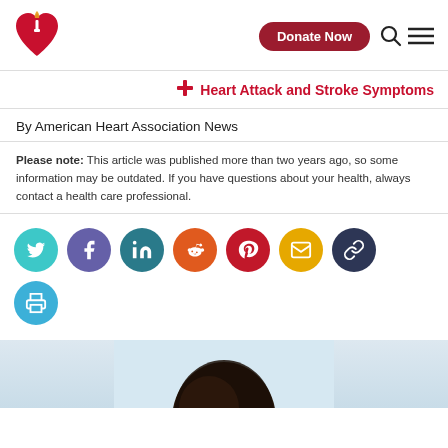American Heart Association — Donate Now
Heart Attack and Stroke Symptoms
By American Heart Association News
Please note: This article was published more than two years ago, so some information may be outdated. If you have questions about your health, always contact a health care professional.
[Figure (infographic): Row of social sharing buttons: Twitter (teal), Facebook (purple), LinkedIn (dark teal), Reddit (orange), Pinterest (red), Email (gold), Link (dark navy), Print (blue)]
[Figure (photo): Partial photo of a person's head with dark hair at the bottom of the page]